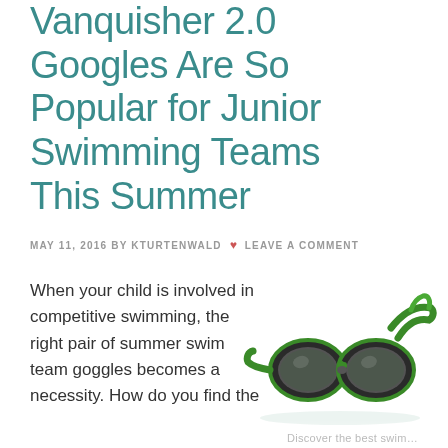Vanquisher 2.0 Googles Are So Popular for Junior Swimming Teams This Summer
MAY 11, 2016 BY KTURTENWALD ♥ LEAVE A COMMENT
When your child is involved in competitive swimming, the right pair of summer swim team goggles becomes a necessity. How do you find the
[Figure (photo): Green and black Speedo Vanquisher 2.0 swim goggles with green straps, photographed on white background with subtle reflection.]